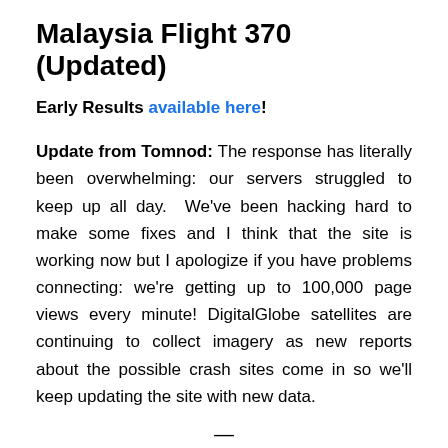Malaysia Flight 370 (Updated)
Early Results available here!
Update from Tomnod: The response has literally been overwhelming: our servers struggled to keep up all day. We've been hacking hard to make some fixes and I think that the site is working now but I apologize if you have problems connecting: we're getting up to 100,000 page views every minute! DigitalGlobe satellites are continuing to collect imagery as new reports about the possible crash sites come in so we'll keep updating the site with new data.
—
Beijing-bound Flight 370 suddenly disappeared on March 8th without a trace. My colleagues at Tomnod have just